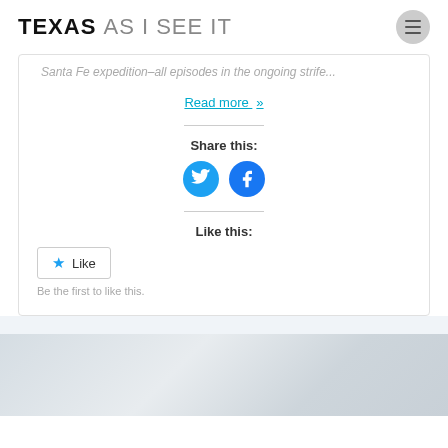TEXAS AS I SEE IT
Santa Fe expedition–all episodes in the ongoing strife...
Read more »
Share this:
[Figure (illustration): Twitter and Facebook social share icon buttons (circular, blue)]
Like this:
Like
Be the first to like this.
[Figure (photo): Partially visible faded gray/blue image at the bottom of the page]